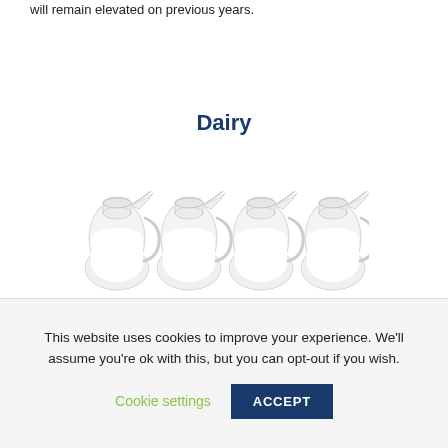will remain elevated on previous years.
Dairy
[Figure (illustration): Four glass milk jugs/pitchers filled with white milk, arranged in a row]
Milk
This website uses cookies to improve your experience. We'll assume you're ok with this, but you can opt-out if you wish.
Cookie settings   ACCEPT